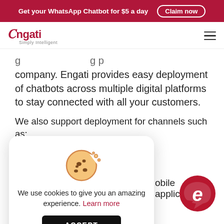Get your WhatsApp Chatbot for $5 a day   Claim now
[Figure (logo): Engati logo with text 'Simply Intelligent' and hamburger menu icon]
company. Engati provides easy deployment of chatbots across multiple digital platforms to stay connected with all your customers.
We also support deployment for channels such as:
WhatsApp
[Figure (illustration): Cookie consent modal with cookie icon, text 'We use cookies to give you an amazing experience. Learn more', and an ACCEPT button]
obile applications
[Figure (logo): Engati chat bubble logo in dark red/crimson color, bottom right corner]